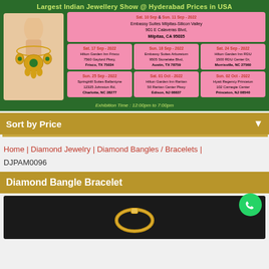[Figure (infographic): Indian Jewellery Show advertisement banner with a necklace image on green background, showing multiple event dates and venues across USA for Sep-Oct 2022.]
Sort by Price
Home | Diamond Jewelry | Diamond Bangles / Bracelets | DJPAM0096
Diamond Bangle Bracelet
[Figure (photo): Dark product photo of a diamond bangle bracelet with a WhatsApp contact button overlay.]